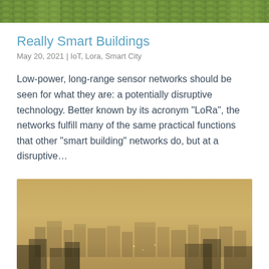[Figure (photo): Top portion of a green outdoor/nature photo, partially cropped at top of page]
Really Smart Buildings
May 20, 2021 | IoT, Lora, Smart City
Low-power, long-range sensor networks should be seen for what they are: a potentially disruptive technology. Better known by its acronym “LoRa”, the networks fulfill many of the same practical functions that other “smart building” networks do, but at a disruptive…
[Figure (photo): A smoggy cityscape photo showing buildings obscured by heavy haze/smog with a yellow-brown tint]